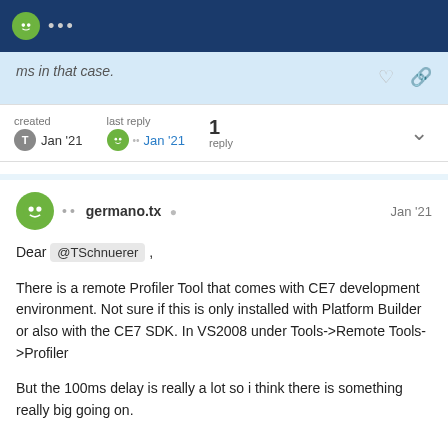ms in that case.
created Jan '21  last reply Jan '21  1 reply
germano.tx  Jan '21
Dear @TSchnuerer ,

There is a remote Profiler Tool that comes with CE7 development environment. Not sure if this is only installed with Platform Builder or also with the CE7 SDK. In VS2008 under Tools->Remote Tools->Profiler

But the 100ms delay is really a lot so i think there is something really big going on.